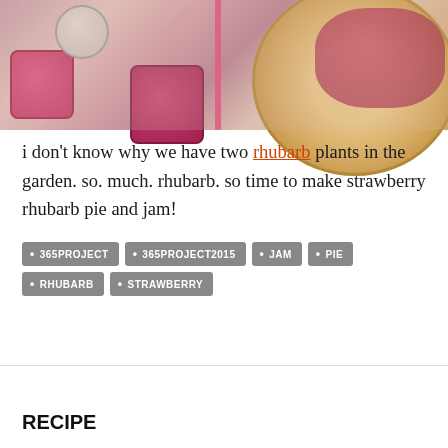[Figure (photo): Overhead view of strawberry rhubarb jam jars and a baked pie with pink ribbon, warm tones]
i don't know why we have two rhubarb plants in the garden. so. much. rhubarb. so time to make strawberry rhubarb pie and jam!
• 365PROJECT
• 365PROJECT2015
• JAM
• PIE
• RHUBARB
• STRAWBERRY
RECIPE